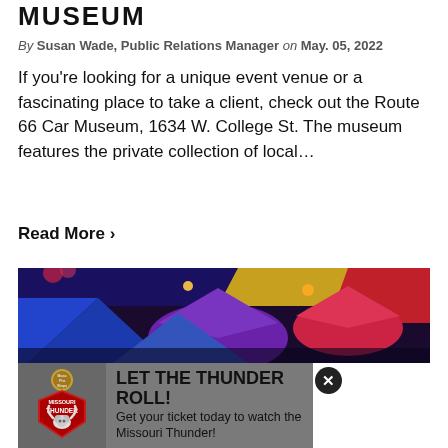MUSEUM
By Susan Wade, Public Relations Manager on May. 05, 2022
If you're looking for a unique event venue or a fascinating place to take a client, check out the Route 66 Car Museum, 1634 W. College St. The museum features the private collection of local…
Read More >
[Figure (photo): Indoor venue/event space decorated with colorful umbrellas (blue, purple, pink/red) hanging from the ceiling, with string lights. Dark background with warm lighting.]
[Figure (logo): Missouri Thunder logo with Bass Pro Shops branding — red and black shield with a bull skull and 'MISSOURI THUNDER' text]
LET THE THUNDER ROLL! Get your ticket today to watch the Missouri Thunder!